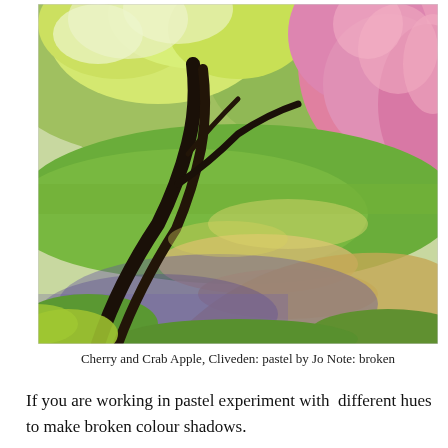[Figure (illustration): A pastel painting of cherry and crab apple trees in bloom at Cliveden. A dark-trunked tree on the left has white and yellow-green foliage, while on the right a crab apple tree bursts with pink blossoms. A sunlit garden path winds through lush green grass in the foreground.]
Cherry and Crab Apple, Cliveden: pastel by Jo Note: broken
If you are working in pastel experiment with  different hues to make broken colour shadows.